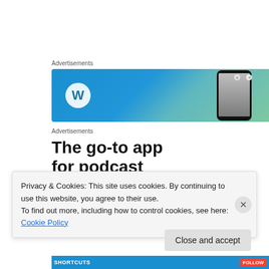Advertisements
[Figure (illustration): WordPress advertisement banner with blue-green gradient background, WordPress logo on left, smartphone on right]
Advertisements
The go-to app for podcast lovers
[Figure (illustration): Podcast app advertisement with green and dark cards partially visible on right side]
Privacy & Cookies: This site uses cookies. By continuing to use this website, you agree to their use.
To find out more, including how to control cookies, see here: Cookie Policy
Close and accept